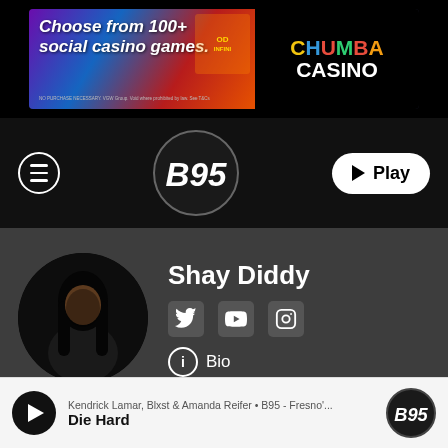[Figure (screenshot): Chumba Casino advertisement banner: 'Choose from 100+ social casino games.' with colorful game imagery and Chumba Casino logo]
[Figure (logo): B95 radio station logo in circular badge, navigation bar with hamburger menu and Play button]
[Figure (photo): Circular profile photo of Shay Diddy, a woman with long dark hair]
Shay Diddy
Bio
Twitter   Instagram   Facebook   YouTube
Kendrick Lamar, Blxst & Amanda Reifer • B95 - Fresno'...
Die Hard